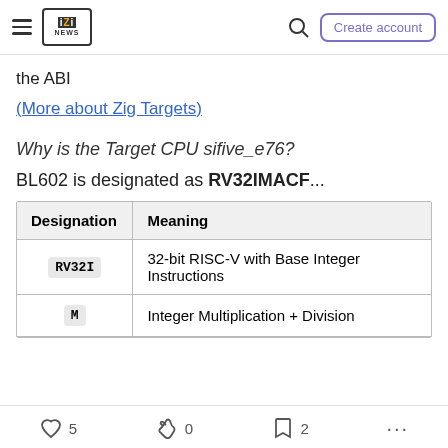iZi NEWS — Search | Create account
the ABI
(More about Zig Targets)
Why is the Target CPU sifive_e76?
BL602 is designated as RV32IMACF...
| Designation | Meaning |
| --- | --- |
| RV32I | 32-bit RISC-V with Base Integer Instructions |
| M | Integer Multiplication + Division |
5  0  2  ...